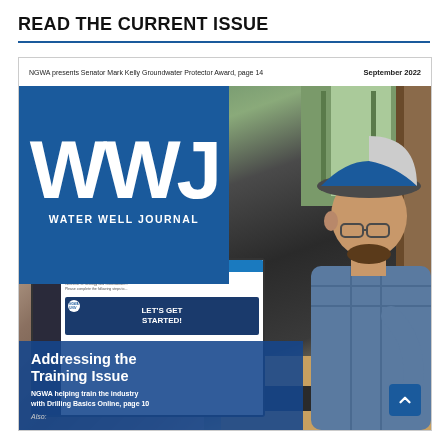READ THE CURRENT ISSUE
[Figure (photo): Cover of Water Well Journal, September 2022 issue. Shows a person wearing a blue and white trucker cap and glasses sitting at a desk looking at a computer monitor displaying an online course about Geology and Groundwater Basics with a 'Let's Get Started' button. The WWJ logo in white letters on a blue background appears on the left side. The headline reads 'Addressing the Training Issue' with subtext 'NGWA helping train the industry with Drilling Basics Online, page 10'. Top bar reads 'NGWA presents Senator Mark Kelly Groundwater Protector Award, page 14' and 'September 2022'. Bottom text says 'Also:'.]